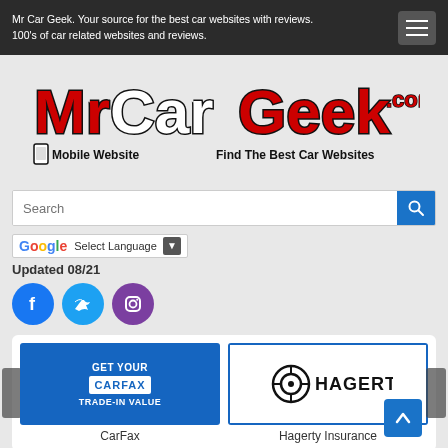Mr Car Geek. Your source for the best car websites with reviews. 100's of car related websites and reviews.
[Figure (logo): MrCarGeek.com logo with red and black stylized text, Mobile Website and Find The Best Car Websites taglines]
Updated 08/21
[Figure (infographic): Social media icons: Facebook, Twitter, Instagram]
[Figure (logo): CarFax - Get Your CarFax Trade-In Value advertisement card]
CarFax
[Figure (logo): Hagerty Insurance logo with steering wheel icon]
Hagerty Insurance